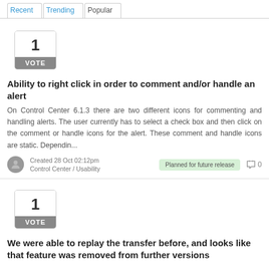Recent  Trending  Popular
[Figure (other): Vote box with number 1 and VOTE label, gray background]
Ability to right click in order to comment and/or handle an alert
On Control Center 6.1.3 there are two different icons for commenting and handling alerts. The user currently has to select a check box and then click on the comment or handle icons for the alert. These comment and handle icons are static. Dependin...
Created 28 Oct 02:12pm
Control Center / Usability
Planned for future release
0
[Figure (other): Vote box with number 1 and VOTE label, gray background]
We were able to replay the transfer before, and looks like that feature was removed from further versions